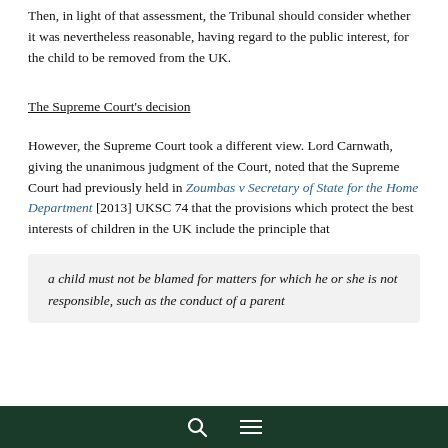Then, in light of that assessment, the Tribunal should consider whether it was nevertheless reasonable, having regard to the public interest, for the child to be removed from the UK.
The Supreme Court's decision
However, the Supreme Court took a different view. Lord Carnwath, giving the unanimous judgment of the Court, noted that the Supreme Court had previously held in Zoumbas v Secretary of State for the Home Department [2013] UKSC 74 that the provisions which protect the best interests of children in the UK include the principle that
a child must not be blamed for matters for which he or she is not responsible, such as the conduct of a parent